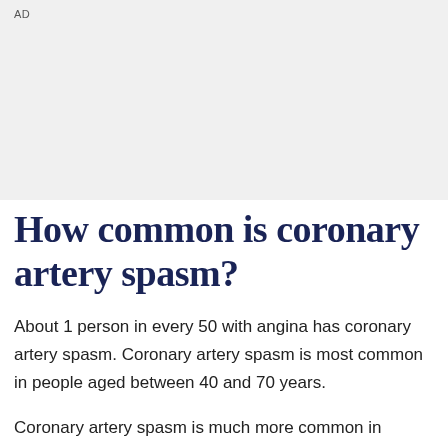[Figure (other): Gray advertisement banner placeholder at the top of the page with 'AD' label in the top-left corner.]
How common is coronary artery spasm?
About 1 person in every 50 with angina has coronary artery spasm. Coronary artery spasm is most common in people aged between 40 and 70 years.
Coronary artery spasm is much more common in people who smoke or have high blood pressure or a high blood cholesterol level. However, coronary artery spasm may occur without any risk factors for heart disease. Risk factors for heart disease include...